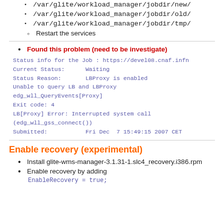/var/glite/workload_manager/jobdir/new/
/var/glite/workload_manager/jobdir/old/
/var/glite/workload_manager/jobdir/tmp/
Restart the services
Found this problem (need to be investigate)
Status info for the Job : https://devel08.cnaf.infn
Current Status:      Waiting
Status Reason:       LBProxy is enabled
Unable to query LB and LBProxy
edg_wll_QueryEvents[Proxy]
Exit code: 4
LB[Proxy] Error: Interrupted system call
(edg_wll_gss_connect())
Submitted:           Fri Dec  7 15:49:15 2007 CET
Enable recovery (experimental)
Install glite-wms-manager-3.1.31-1.slc4_recovery.i386.rpm
Enable recovery by adding
EnableRecovery = true;